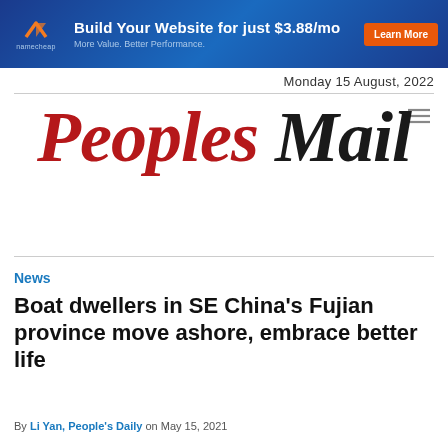[Figure (other): Namecheap advertisement banner: 'Build Your Website for just $3.88/mo — More Value. Better Performance.' with Learn More button]
Monday 15 August, 2022
[Figure (logo): Peoples Mail newspaper logo in italic serif font — 'Peoples' in dark red, 'Mail' in black]
News
Boat dwellers in SE China's Fujian province move ashore, embrace better life
By Li Yan, People's Daily on May 15, 2021